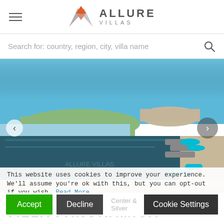ALLURE VILLAS
Search for: country, region, city, villa name
[Figure (photo): Luxury villa with infinity pool overlooking coastal landscape with blue sky, lounge chairs with teal cushions, and scenic water views in the background. Navigation arrows on left and right sides.]
This website uses cookies to improve your experience. We'll assume you're ok with this, but you can opt-out if you wish. Read More
Accept    Decline    Cookie Settings
VILLA PANORAMICA